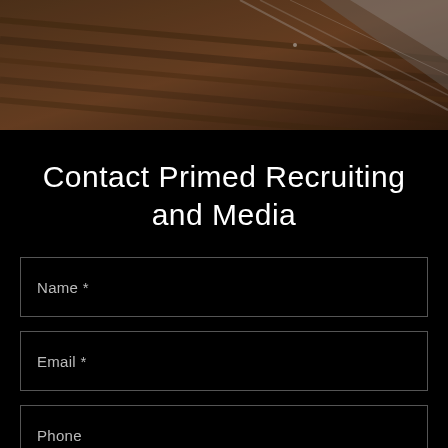[Figure (photo): Aerial or close-up photo with brown wooden texture and diagonal white/grey abstract elements visible at the top of the page]
Contact Primed Recruiting and Media
Name *
Email *
Phone
Address